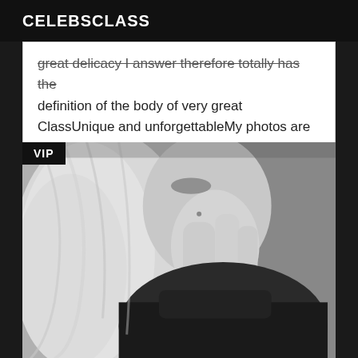CELEBSCLASS
great delicacy I answer therefore totally has the definition of the body of very great ClassUnique and unforgettableMy photos are 100% real BISOUS
[Figure (photo): Black and white close-up photo of a woman with long blonde hair, wearing a black turtleneck sweater, hand raised near her face. A VIP badge is shown in the top-left corner of the image.]